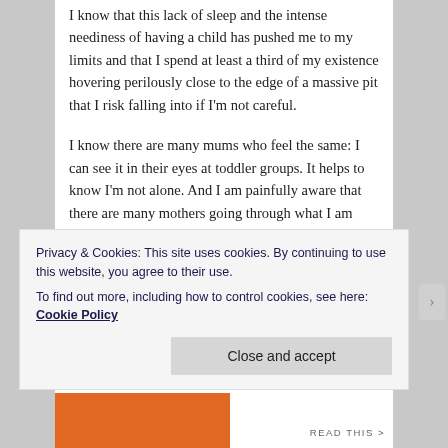I know that this lack of sleep and the intense neediness of having a child has pushed me to my limits and that I spend at least a third of my existence hovering perilously close to the edge of a massive pit that I risk falling into if I'm not careful.
I know there are many mums who feel the same: I can see it in their eyes at toddler groups. It helps to know I'm not alone. And I am painfully aware that there are many mothers going through what I am going through but who are also fleeing violence, or war, or famine, or battling illness, and I am overwhelmed with gratefulness that my child has shelter and is safe and healthy. Sometimes it is hard to find God in it all, I stare at the ceiling and ask him whether he really cares about my sleep deprivation and
Privacy & Cookies: This site uses cookies. By continuing to use this website, you agree to their use.
To find out more, including how to control cookies, see here: Cookie Policy
Close and accept